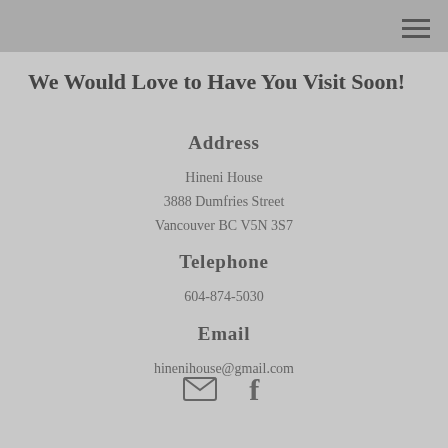We Would Love to Have You Visit Soon!
Address
Hineni House
3888 Dumfries Street
Vancouver BC V5N 3S7
Telephone
604-874-5030
Email
hinenihouse@gmail.com
[Figure (illustration): Email envelope icon and Facebook 'f' icon side by side]